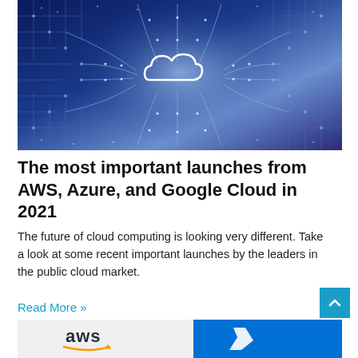[Figure (photo): A blue circuit board illustration with glowing circuit traces and a white cloud icon in the center, representing cloud computing technology.]
The most important launches from AWS, Azure, and Google Cloud in 2021
The future of cloud computing is looking very different. Take a look at some recent important launches by the leaders in the public cloud market.
Read More »
[Figure (photo): Bottom banner image showing AWS logo with orange smile arrow on white background and a blue Microsoft Azure or Google Cloud logo partially visible.]